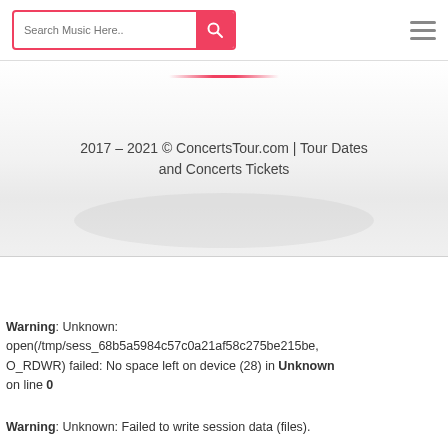Search Music Here..
2017 - 2021 © ConcertsTour.com | Tour Dates and Concerts Tickets
Warning: Unknown: open(/tmp/sess_68b5a5984c57c0a21af58c275be215be, O_RDWR) failed: No space left on device (28) in Unknown on line 0
Warning: Unknown: Failed to write session data (files).